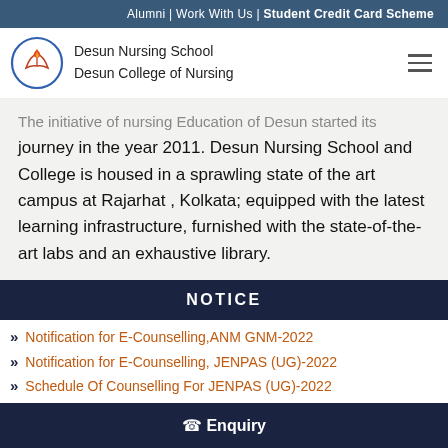Alumni | Work With Us | Student Credit Card Scheme
[Figure (logo): Desun Nursing School / Desun College of Nursing logo: circular emblem with flame and open book in orange and red, with institution name text beside it]
The initiative of nursing Education of Desun started its journey in the year 2011. Desun Nursing School and College is housed in a sprawling state of the art campus at Rajarhat , Kolkata; equipped with the latest learning infrastructure, furnished with the state-of-the-art labs and an exhaustive library.
NOTICE
Notification for E-Counselling,ANM GNM-2022
Notification for E-Counselling, JENPAS (UG)-2022
Schedule Of Counselling For JENPAS (UG)-2022
Enquiry